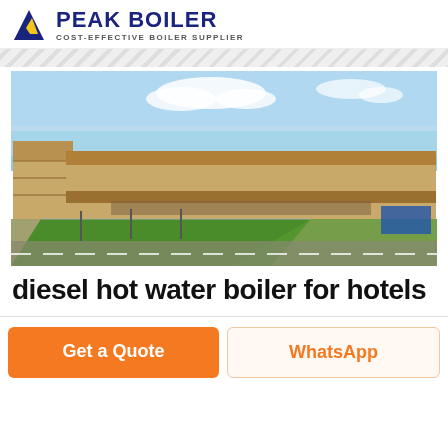[Figure (logo): Peak Boiler logo with blue/yellow triangular icon and text 'PEAK BOILER' with tagline 'COST-EFFECTIVE BOILER SUPPLIER']
[Figure (photo): Aerial/perspective photo of a large industrial factory complex with long yellow/beige warehouse buildings, green lawn area in foreground, blue sky with clouds, industrial site]
diesel hot water boiler for hotels
Get a Quote
WhatsApp